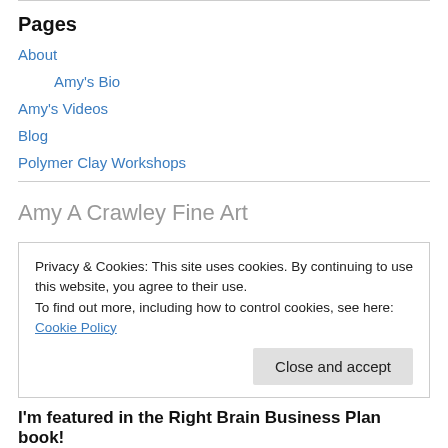Pages
About
Amy's Bio
Amy's Videos
Blog
Polymer Clay Workshops
Amy A Crawley Fine Art
Privacy & Cookies: This site uses cookies. By continuing to use this website, you agree to their use.
To find out more, including how to control cookies, see here: Cookie Policy
Close and accept
I'm featured in the Right Brain Business Plan book!